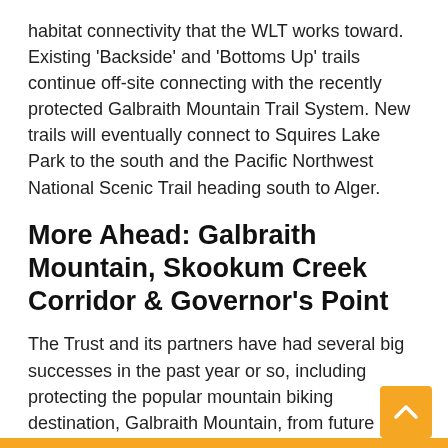habitat connectivity that the WLT works toward. Existing 'Backside' and 'Bottoms Up' trails continue off-site connecting with the recently protected Galbraith Mountain Trail System. New trails will eventually connect to Squires Lake Park to the south and the Pacific Northwest National Scenic Trail heading south to Alger.
More Ahead: Galbraith Mountain, Skookum Creek Corridor & Governor's Point
The Trust and its partners have had several big successes in the past year or so, including protecting the popular mountain biking destination, Galbraith Mountain, from future development in perpetuity. The City of Bellingham and The Trust purchased an easement from Galbraith Tree Farm LLC last summer protecting 2,182 acres, including use of 65 miles of already developed nationally-recognized mountain bike trails. Also used for family outings, running, hiking, and walking, the [continues] 1,250 acres of public land